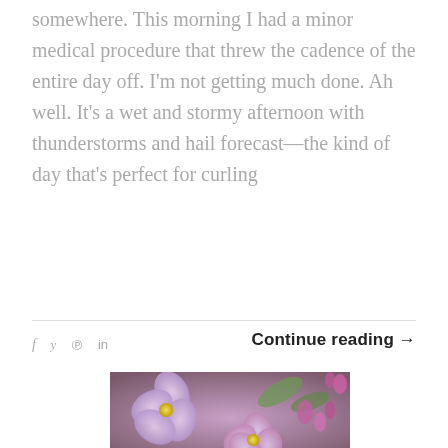somewhere. This morning I had a minor medical procedure that threw the cadence of the entire day off. I'm not getting much done. Ah well. It's a wet and stormy afternoon with thunderstorms and hail forecast—the kind of day that's perfect for curling
Continue reading →
[Figure (photo): Close-up photograph of lilac flowers in shades of purple and pink with green leaves in the background.]